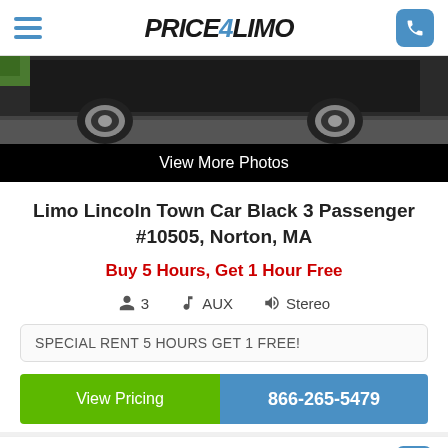Price4Limo — hamburger menu, logo, phone button
[Figure (photo): Bottom portion of a black Lincoln Town Car limousine showing wheels and lower body]
View More Photos
Limo Lincoln Town Car Black 3 Passenger #10505, Norton, MA
Buy 5 Hours, Get 1 Hour Free
3   AUX   Stereo
SPECIAL RENT 5 HOURS GET 1 FREE!
View Pricing   866-265-5479
Leave a message